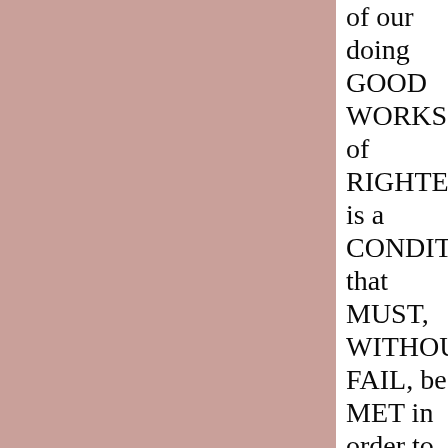[Figure (other): Large pink/mauve colored rectangle occupying the left approximately three-quarters of the page.]
of our doing GOOD WORKS of RIGHTEOUS is a CONDITION that MUST, WITHOUT FAIL, be MET in order to OBTAIN eternal life